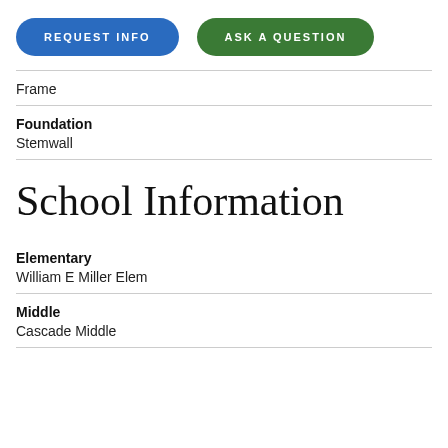REQUEST INFO
ASK A QUESTION
Frame
Foundation
Stemwall
School Information
Elementary
William E Miller Elem
Middle
Cascade Middle